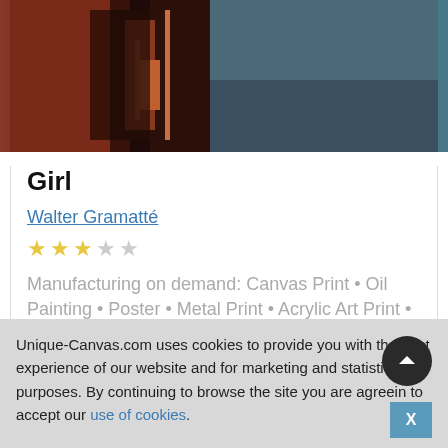[Figure (photo): Painting of a girl with dark background, red and brown tones, expressionist style by Walter Gramatté]
Girl
Walter Gramatté
[Figure (other): Star rating: 3 out of 5 stars (3 filled yellow stars, 2 empty grey stars)]
Manufacturing on demand: Canvas Print • Oil Painting • Poster • Metal Print • Acrylic Art Print • Framed Art
Unique-Canvas.com uses cookies to provide you with the best experience of our website and for marketing and statistical purposes. By continuing to browse the site you are agreeing to accept our use of cookies.